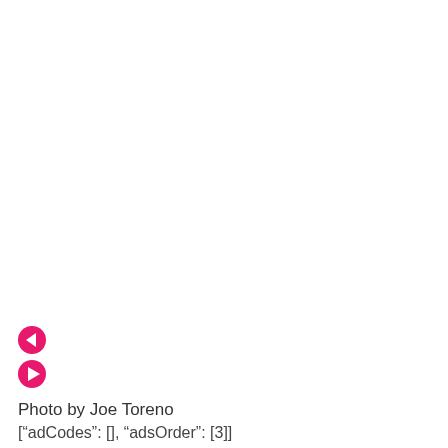[Figure (other): Pink/magenta rewind (back) button icon — filled circle with left-pointing triangle]
[Figure (other): Pink/magenta play (forward) button icon — filled circle with right-pointing triangle]
Photo by Joe Toreno
["adCodes": [], "adsOrder": [3]]